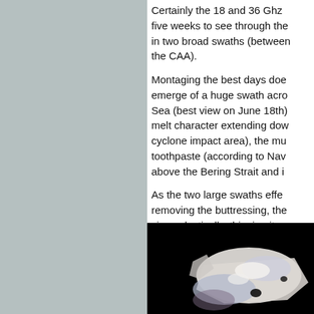[Figure (other): Gray/blue-green background panel on the left side of the page]
Certainly the 18 and 36 Ghz ... five weeks to see through the... in two broad swaths (between... the CAA).
Montaging the best days doe... emerge of a huge swath acro... Sea (best view on June 18th)... melt character extending dow... cyclone impact area), the mu... toothpaste (according to Nav... above the Bering Strait and i...
As the two large swaths effe... removing the buttressing, the... visco-elastically, thinning it a...
In the past, it took a 'black sw... September state; with the ice... off-white one might do it.
[Figure (photo): Satellite or aerial image of Arctic sea ice on a black background, showing white and blue-purple ice formations]